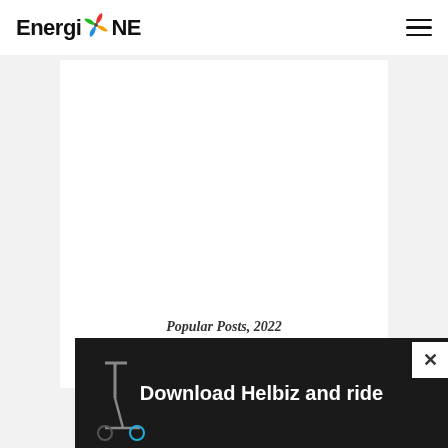EnergioNE
Popular Posts, 2022
[Figure (screenshot): Advertisement banner showing an e-scooter with text 'Download Helbiz and ride']